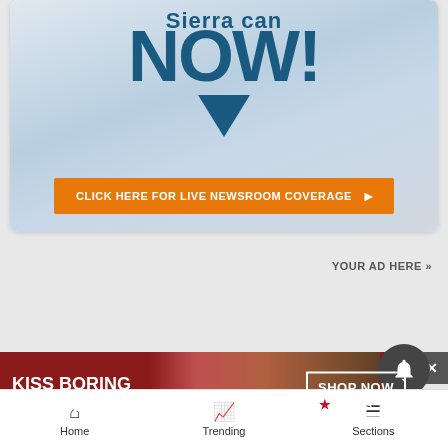[Figure (screenshot): News website screenshot showing a promotional card with 'NOW!' text in teal bold font, an orange CTA button reading 'CLICK HERE FOR LIVE NEWSROOM COVERAGE', an ad placeholder with 'YOUR AD HERE »', a Macy's banner advertisement reading 'KISS BORING LIPS GOODBYE' with 'SHOP NOW' and Macy's star logo, a close button, a bell notification icon, and bottom navigation bar with Home, Trending, Sections.]